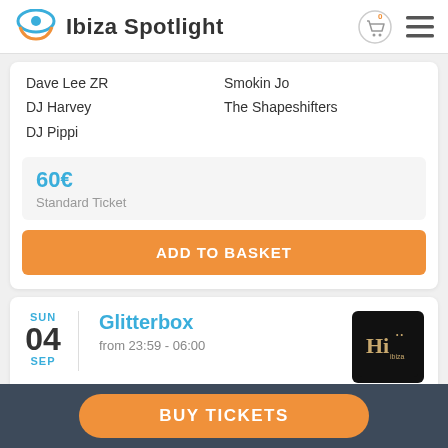Ibiza Spotlight
Dave Lee ZR
Smokin Jo
DJ Harvey
The Shapeshifters
DJ Pippi
60€ Standard Ticket
ADD TO BASKET
SUN 04 SEP
Glitterbox
from 23:59 - 06:00
Artwork
DJ Paulette
Dimitri From Paris
Melon Bomb
DJ Harvey
Roger Sanchez
BUY TICKETS